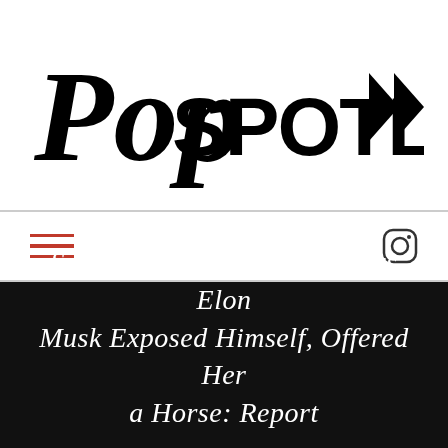[Figure (logo): PopSpotlight logo with stylized 'Pop' in script and 'SPOTLIGHT' in bold block letters with a triangular play/arrow icon]
[Figure (other): Navigation bar with red hamburger menu icon on the left and Instagram icon on the right]
SpaceX Flight Attendant Says Elon Musk Exposed Himself, Offered Her a Horse: Report